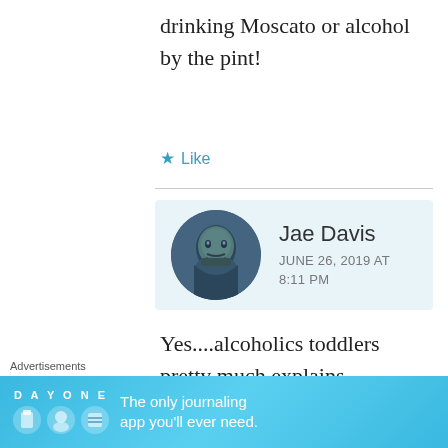drinking Moscato or alcohol by the pint!
★ Like
Jae Davis
JUNE 26, 2019 AT 8:11 PM
[Figure (photo): Circular avatar photo of Jae Davis, a man with short hair and beard, with a blue-tinted filter.]
Yes....alcoholics toddlers pretty much explains everything. From now on...it
Advertisements
[Figure (screenshot): Day One journaling app advertisement banner: 'The only journaling app you'll ever need.' with app icons on blue background.]